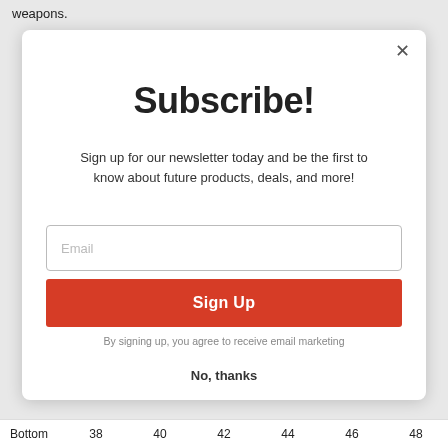weapons.
Subscribe!
Sign up for our newsletter today and be the first to know about future products, deals, and more!
Email
Sign Up
By signing up, you agree to receive email marketing
No, thanks
Bottom   38   40   42   44   46   48